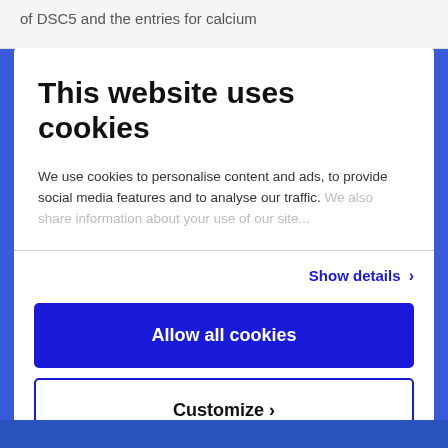of DSC5 and the entries for calcium
This website uses cookies
We use cookies to personalise content and ads, to provide social media features and to analyse our traffic. We also share information about your use of our site...
Show details ›
Allow all cookies
Customize ›
Powered by Cookiebot by Usercentrics